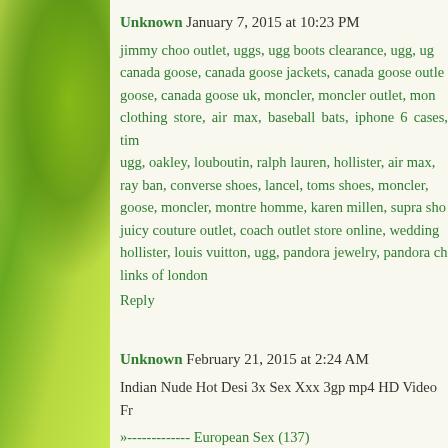Unknown January 7, 2015 at 10:23 PM
jimmy choo outlet, uggs, ugg boots clearance, ugg, ug canada goose, canada goose jackets, canada goose outlet goose, canada goose uk, moncler, moncler outlet, mon clothing store, air max, baseball bats, iphone 6 cases, tim ugg, oakley, louboutin, ralph lauren, hollister, air max, ray ban, converse shoes, lancel, toms shoes, moncler, goose, moncler, montre homme, karen millen, supra sho juicy couture outlet, coach outlet store online, wedding hollister, louis vuitton, ugg, pandora jewelry, pandora ch links of london
Reply
Unknown February 21, 2015 at 2:24 AM
Indian Nude Hot Desi 3x Sex Xxx 3gp mp4 HD Video Fr
»------------- European Sex (137)